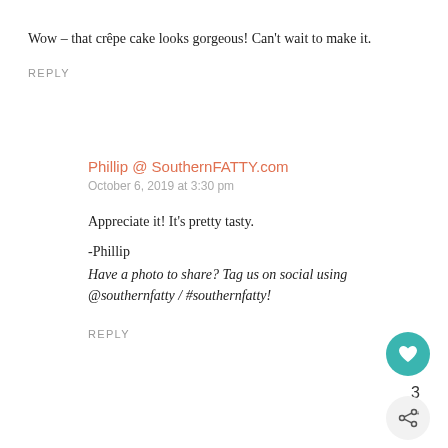Wow – that crêpe cake looks gorgeous! Can't wait to make it.
REPLY
Phillip @ SouthernFATTY.com
October 6, 2019 at 3:30 pm
Appreciate it! It's pretty tasty.
-Phillip
Have a photo to share? Tag us on social using @southernfatty / #southernfatty!
REPLY